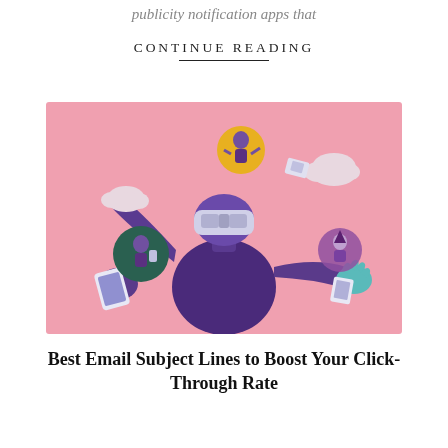publicity notification apps that
CONTINUE READING
[Figure (illustration): 3D illustration of a purple humanoid figure wearing a VR headset, with one hand holding a smartphone/device and the other hand open. Around the figure float: a yellow circle with a small character, a green circle with a character holding a phone, a purple circle with a small character, two cloud shapes, and small card-like objects. Pink background.]
Best Email Subject Lines to Boost Your Click-Through Rate